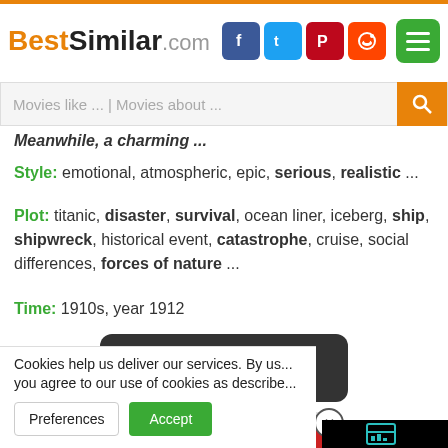BestSimilar.com
Movies like ... | Movies about ...
Meanwhile, a charming ...
Style: emotional, atmospheric, epic, serious, realistic ...
Plot: titanic, disaster, survival, ocean liner, iceberg, ship, shipwreck, historical event, catastrophe, cruise, social differences, forces of nature ...
Time: 1910s, year 1912
[Figure (other): Dark rounded button with play arrows and MOVIE text]
⇅ similarity ⇅
[Figure (screenshot): Black video panel with teal chart/playbar icon]
Cookies help us deliver our services. By us... you agree to our use of cookies as describe...
Preferences
Accept